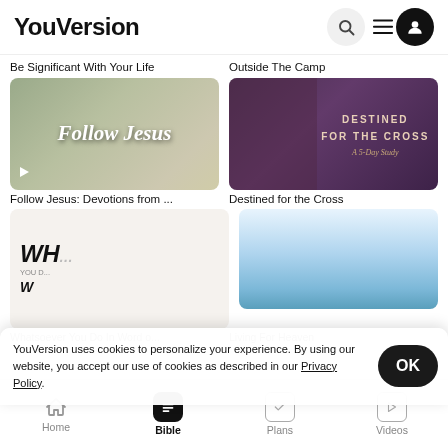YouVersion
Be Significant With Your Life
Outside The Camp
[Figure (photo): Follow Jesus devotional card with handwritten-style text on a warm background]
[Figure (photo): Destined For The Cross 5-Day Study card with dark purple background]
Follow Jesus: Devotions from ...
Destined for the Cross
[Figure (photo): Whatsoever You Do In Word o... book cover card with white/grey background]
[Figure (photo): Living For Heaven card with blue sky background]
Whatsoever You Do In Word o...
Living For Heaven
YouVersion uses cookies to personalize your experience. By using our website, you accept our use of cookies as described in our Privacy Policy.
Home  Bible  Plans  Videos